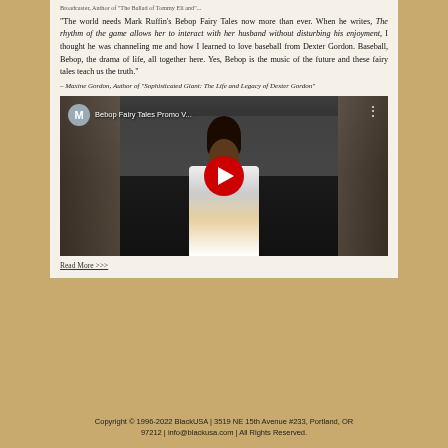Broadcaster, Author of 'The Ballad of Tommy Eli and'...
“The world needs Mark Ruffin’s Bebop Fairy Tales now more than ever. When he writes, The rhythm of the game allows her to interact with her husband without disturbing his enjoyment, I thought he was channeling me and how I learned to love baseball from Dexter Gordon. Baseball, Bebop, the drama of life, all together here. Yes, Bebop is the music of the future and these fairy tales teach us the truth.”
– Maxine Gordon, Author of "Sophisticated Giant: The Life and Legacy of Dexter Gordon"
[Figure (screenshot): YouTube video thumbnail showing a man with dreadlocks wearing a colorful shirt standing in front of a dark statue/sculpture outdoors. Video title reads 'Bebop Fairy Tales Promo V...' with a YouTube-style play button overlay.]
Read More >>>
Copyright © 1996-2022 BlackUSA | 3519 NE 15th Avenue #233, Portland, OR 97212 | info@blackusa.com | All Rights Reserved.